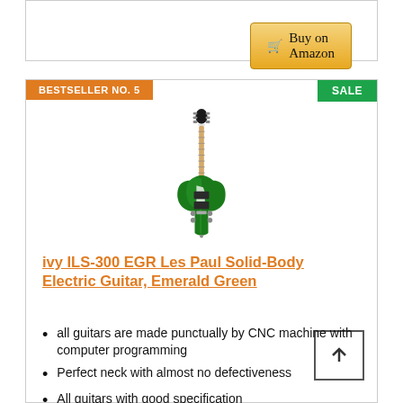[Figure (other): Buy on Amazon button with shopping cart icon, golden gradient background]
BESTSELLER NO. 5
SALE
[Figure (photo): Ivy ILS-300 EGR Les Paul Solid-Body Electric Guitar in Emerald Green, shown vertically]
ivy ILS-300 EGR Les Paul Solid-Body Electric Guitar, Emerald Green
all guitars are made punctually by CNC machine with computer programming
Perfect neck with almost no defectiveness
All guitars with good specification